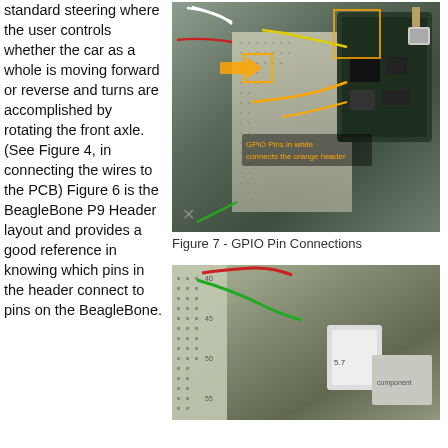standard steering where the user controls whether the car as a whole is moving forward or reverse and turns are accomplished by rotating the front axle. (See Figure 4, in connecting the wires to the PCB) Figure 6 is the BeagleBone P9 Header layout and provides a good reference in knowing which pins in the header connect to pins on the BeagleBone.
[Figure (photo): Photograph of a BeagleBone connected to a breadboard with colored wires (red, green, white, yellow, orange). Orange annotation arrows and a highlighted rectangle point to GPIO pin connections. Text overlay in orange reads: 'GPIO Pins in white' and 'connects the orange header'.]
Figure 7 - GPIO Pin Connections
[Figure (photo): Photograph of a breadboard with colorful wires (red, green) visible, and electronic components below including what appears to be a small module with labels visible.]